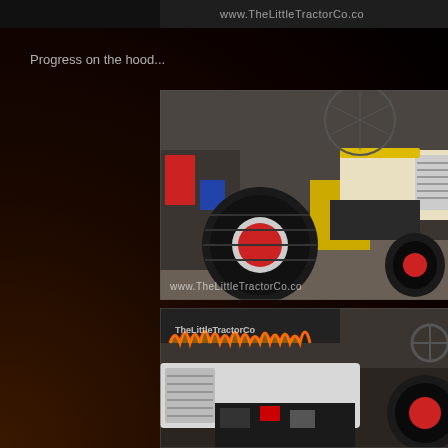[Figure (photo): Top banner strip showing partial view of tractor photo with www.TheLittleTractorCo.co watermark text visible on dark background]
Progress on the hood...
[Figure (photo): Tractor in a garage/workshop setting. The tractor has large black rear tires with red rims, a cream/yellow hood with a yellow and white front grille. Various workshop equipment and shelving visible in the background. Watermark www.TheLittleTractorCo.co visible at bottom.]
[Figure (photo): Close-up of tractor hood/engine area showing a white/grey tractor hood with louvered vents, engine components visible underneath, red-rimmed tire visible at right. Flame graphic banner visible in background at top.]